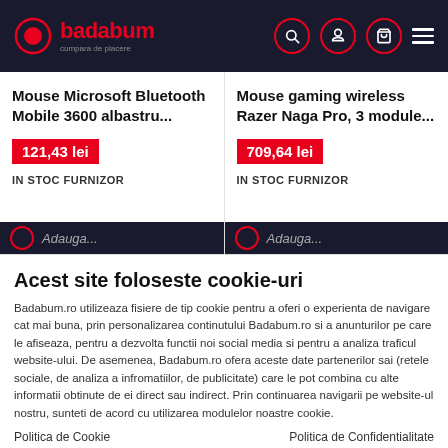badabum - cumpara de placere
Mouse Microsoft Bluetooth Mobile 3600 albastru...
121,43 lei
IN STOC FURNIZOR
Mouse gaming wireless Razer Naga Pro, 3 module...
709,64 lei
IN STOC FURNIZOR
Acest site foloseste cookie-uri
Badabum.ro utilizeaza fisiere de tip cookie pentru a oferi o experienta de navigare cat mai buna, prin personalizarea continutului Badabum.ro si a anunturilor pe care le afiseaza, pentru a dezvolta functii noi social media si pentru a analiza traficul website-ului. De asemenea, Badabum.ro ofera aceste date partenerilor sai (retele sociale, de analiza a infromatiilor, de publicitate) care le pot combina cu alte informatii obtinute de ei direct sau indirect. Prin continuarea navigarii pe website-ul nostru, sunteti de acord cu utilizarea modulelor noastre cookie.
Politica de Cookie
Politica de Confidentialitate
Accept
Setari